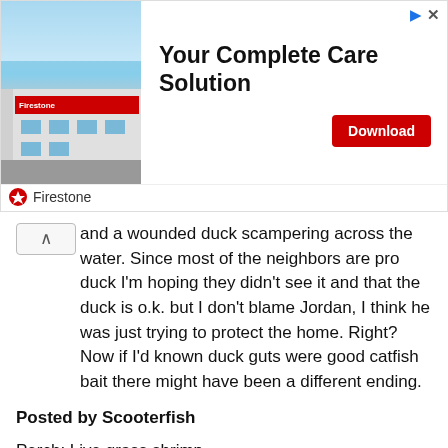[Figure (other): Firestone advertisement banner with building photo, headline 'Your Complete Care Solution', Download button, and Firestone brand logo]
and a wounded duck scampering across the water. Since most of the neighbors are pro duck I'm hoping they didn't see it and that the duck is o.k. but I don't blame Jordan, I think he was just trying to protect the home. Right? Now if I'd known duck guts were good catfish bait there might have been a different ending.
Posted by Scooterfish
Perch: Live grass shrimp
Posted by Anthony
Here's mine.
Shark: Fresh Mackeral
Rays: Squid
Corbina: Softshell Sandcrabs